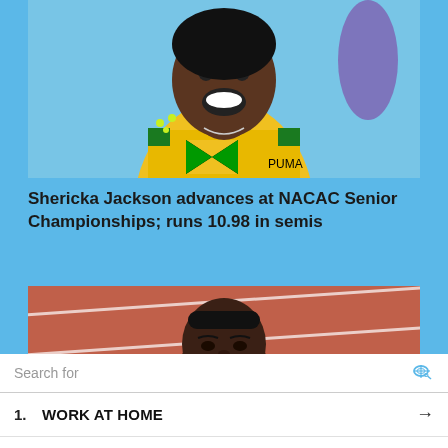[Figure (photo): Smiling female athlete wearing a yellow Jamaican national team jersey with Puma logo and Jamaican flag, green top visible, celebrating at an athletics event]
Shericka Jackson advances at NACAC Senior Championships; runs 10.98 in semis
[Figure (photo): Female athlete with dark hair on a red athletics track, serious expression, preparing for a race]
Search for
1. WORK AT HOME →
2. CHEAP LAPTOPS →